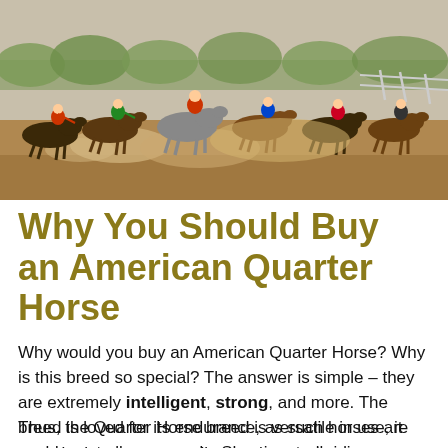[Figure (photo): Horse racing scene with multiple jockeys on horses racing on a dirt track, dust flying, with trees and fencing visible in the background.]
Why You Should Buy an American Quarter Horse
Why would you buy an American Quarter Horse? Why is this breed so special? The answer is simple – they are extremely intelligent, strong, and more. The breed is loved for its endurance, as such horses are great in the arena as well as at the ranch.
Thus, the Quarter Horse breed is versatile in use, it could meet all your needs. Showing, trail riding,